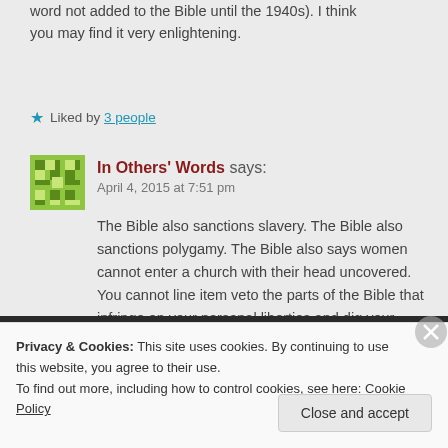word not added to the Bible until the 1940s). I think you may find it very enlightening.
Liked by 3 people
In Others' Words says: April 4, 2015 at 7:51 pm
The Bible also sanctions slavery. The Bible also sanctions polygamy. The Bible also says women cannot enter a church with their head uncovered. You cannot line item veto the parts of the Bible that infringe on your personal liberties and dig your heels in on the
Privacy & Cookies: This site uses cookies. By continuing to use this website, you agree to their use.
To find out more, including how to control cookies, see here: Cookie Policy
Close and accept